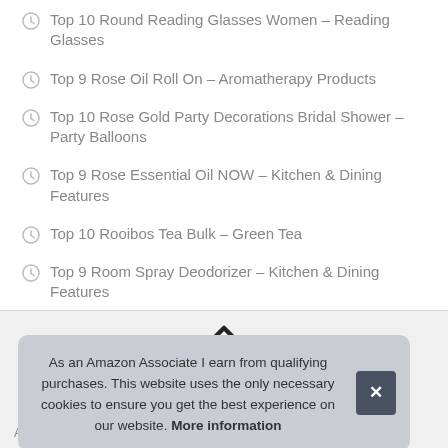Top 10 Round Reading Glasses Women – Reading Glasses
Top 9 Rose Oil Roll On – Aromatherapy Products
Top 10 Rose Gold Party Decorations Bridal Shower – Party Balloons
Top 9 Rose Essential Oil NOW – Kitchen & Dining Features
Top 10 Rooibos Tea Bulk – Green Tea
Top 9 Room Spray Deodorizer – Kitchen & Dining Features
As an Amazon Associate I earn from qualifying purchases. This website uses the only necessary cookies to ensure you get the best experience on our website. More information
Associates Program, an affiliate advertising program designed